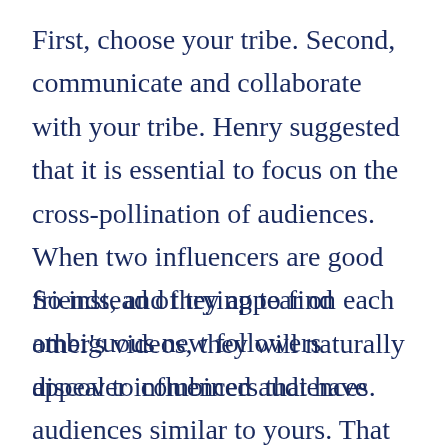First, choose your tribe. Second, communicate and collaborate with your tribe. Henry suggested that it is essential to focus on the cross-pollination of audiences. When two influencers are good friends, and they appear on each other's videos, they will naturally appeal to combined audiences.
So instead of trying to find ambiguous new followers discover influencers that have audiences similar to yours. That way, by overlapping your audience, both will expand the number of followers that weren't common